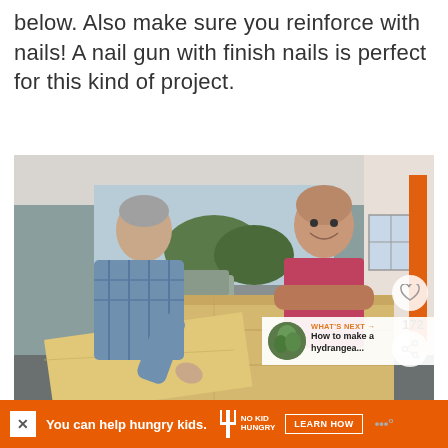below. Also make sure you reinforce with nails! A nail gun with finish nails is perfect for this kind of project.
[Figure (photo): Two older men working on building a large wooden box/chest in a garage. One man in a plaid shirt is bent over examining the wood, the other in a pink sleeveless shirt is smiling and leaning on the wooden structure. A car is visible in the driveway outside the open garage door.]
You can help hungry kids.
NOKID HUNGRY
LEARN HOW